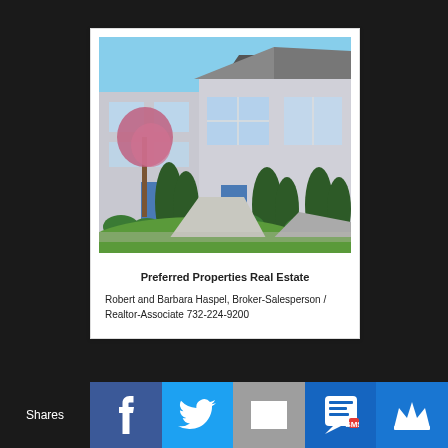[Figure (photo): Exterior photo of residential townhouse with green lawn, shrubs, and blue sky]
Preferred Properties Real Estate
Robert and Barbara Haspel, Broker-Salesperson / Realtor-Associate 732-224-9200
[Figure (infographic): Social share bar with Facebook, Twitter, Email, SMS, and crown/king icons. Label: Shares]